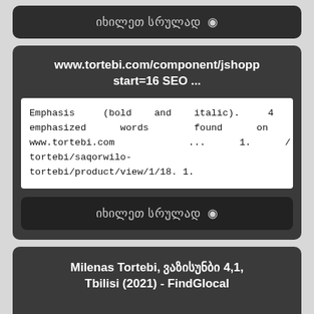იხილეთ სრულად 👁
www.tortebi.com/component/jshopp start=16 SEO ...
Emphasis (bold and italic). 4 emphasized words found on www.tortebi.com ... 1. /tortebi/saqorwilo-tortebi/product/view/1/18. 1.
იხილეთ სრულად 👁
Milenas Tortebi, ვაზისუნბი 4,1, Tbilisi (2021) - FindGlocal